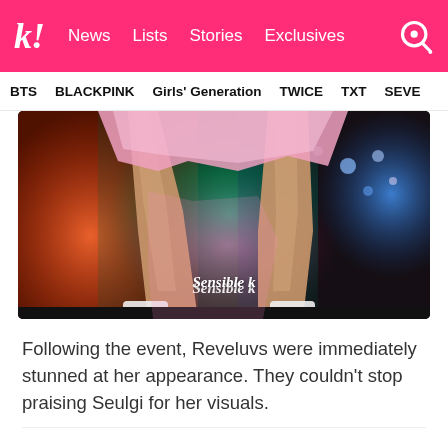k! News Lists Stories Exclusives
BTS BLACKPINK Girls' Generation TWICE TXT SEVE
[Figure (photo): Close-up photo of a performer's legs on stage wearing a white skirt and white shoes, with colorful LED display background in green, blue and orange/pink hues. Watermark reads 'Sensible k'.]
Following the event, Reveluvs were immediately stunned at her appearance. They couldn't stop praising Seulgi for her visuals.